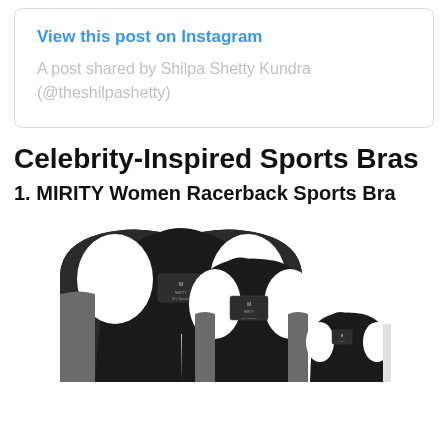View this post on Instagram
A post shared by Shilpa Shetty Kundra (@theshilpashetty)
Celebrity-Inspired Sports Bras
1. MIRITY Women Racerback Sports Bra
[Figure (photo): Three black MIRITY Women Racerback Sports Bras shown from the back, stacked in decreasing size order, in black with grey/white accents. Each has a visible care label tag on the back.]